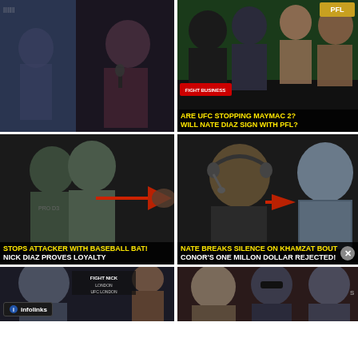[Figure (screenshot): UFC/MMA video thumbnail grid showing 6 thumbnails. Top-left: Conor McGregor speaking with mic. Top-right: UFC fighters group with text 'ARE UFC STOPPING MAYMAC 2? WILL NATE DIAZ SIGN WITH PFL?' Middle-left: Nick Diaz with text 'STOPS ATTACKER WITH BASEBALL BAT! NICK DIAZ PROVES LOYALTY'. Middle-right: Nate Diaz and Conor McGregor with text 'NATE BREAKS SILENCE ON KHAMZAT BOUT CONOR'S ONE MILLON DOLLAR REJECTED!'. Bottom-left partial: UFC London thumbnail with infolinks badge. Bottom-right partial: UFC figures thumbnail. Close button visible.]